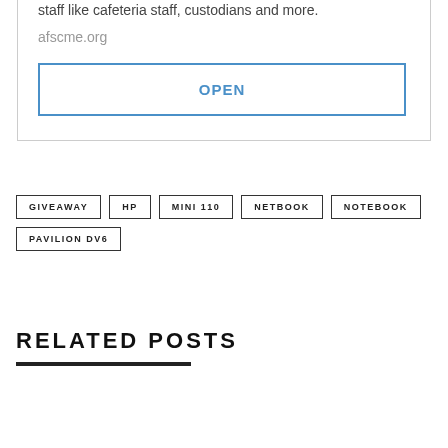staff like cafeteria staff, custodians and more.
afscme.org
OPEN
GIVEAWAY
HP
MINI 110
NETBOOK
NOTEBOOK
PAVILION DV6
RELATED POSTS